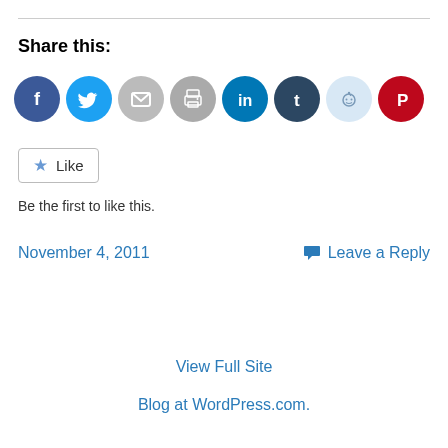Share this:
[Figure (infographic): Row of social sharing icon circles: Facebook (blue), Twitter (blue), Email (light gray), Print (light gray), LinkedIn (teal), Tumblr (dark navy), Reddit (light blue/gray), Pinterest (red)]
[Figure (infographic): Like button with star icon and text 'Like']
Be the first to like this.
November 4, 2011
Leave a Reply
View Full Site
Blog at WordPress.com.